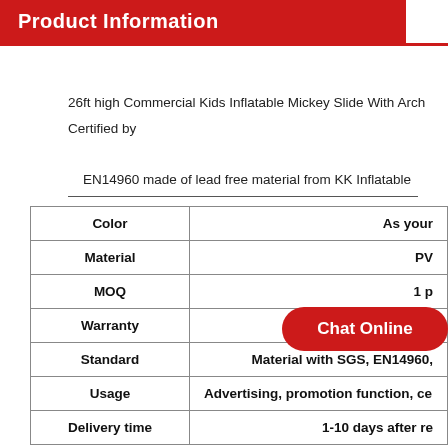Product Information
26ft high Commercial Kids Inflatable Mickey Slide With Arch Certified by

EN14960 made of lead free material from KK Inflatable
|  |  |
| --- | --- |
| Color | As your |
| Material | PV |
| MOQ | 1 p |
| Warranty | 3-5y |
| Standard | Material with SGS, EN14960, |
| Usage | Advertising, promotion function, ce |
| Delivery time | 1-10 days after re |
[Figure (other): Red 'Chat Online' button overlay]